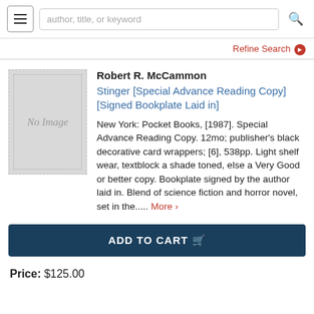author, title, or keyword
Refine Search
[Figure (illustration): Book thumbnail placeholder showing 'No Image' text on a gray background with dashed border]
Robert R. McCammon
Stinger [Special Advance Reading Copy] [Signed Bookplate Laid in]
New York: Pocket Books, [1987]. Special Advance Reading Copy. 12mo; publisher's black decorative card wrappers; [6], 538pp. Light shelf wear, textblock a shade toned, else a Very Good or better copy. Bookplate signed by the author laid in. Blend of science fiction and horror novel, set in the..... More >
ADD TO CART
Price: $125.00